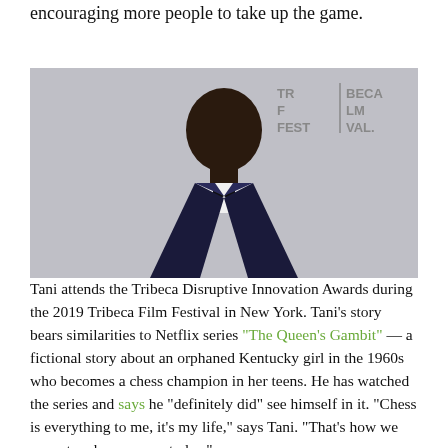encouraging more people to take up the game.
[Figure (photo): Young boy in a navy blue tuxedo with bow tie attending the Tribeca Disruptive Innovation Awards at the 2019 Tribeca Film Festival. The Tribeca Film Festival logo is visible in the background.]
Tani attends the Tribeca Disruptive Innovation Awards during the 2019 Tribeca Film Festival in New York. Tani's story bears similarities to Netflix series "The Queen's Gambit" — a fictional story about an orphaned Kentucky girl in the 1960s who becomes a chess champion in her teens. He has watched the series and says he "definitely did" see himself in it. "Chess is everything to me, it's my life," says Tani. "That's how we came to where we are today."